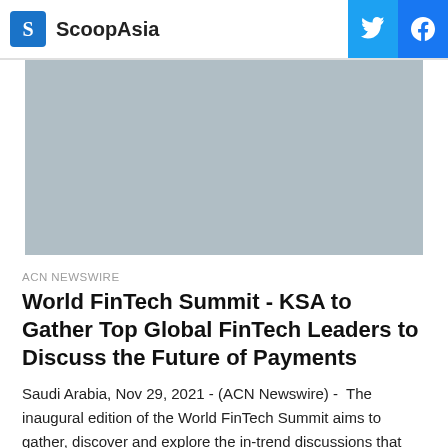ScoopAsia
[Figure (other): Gray advertisement placeholder image]
ACN NEWSWIRE
World FinTech Summit - KSA to Gather Top Global FinTech Leaders to Discuss the Future of Payments
Saudi Arabia, Nov 29, 2021 - (ACN Newswire) - The inaugural edition of the World FinTech Summit aims to gather, discover and explore the in-trend discussions that will drive Saudi's FinTech initiatives in
S  2 MIN READ